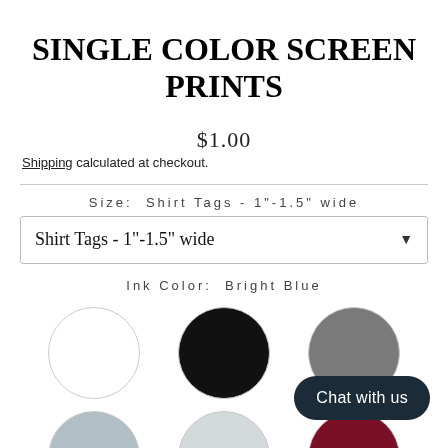SINGLE COLOR SCREEN PRINTS
$1.00
Shipping calculated at checkout.
Size: Shirt Tags - 1"-1.5" wide
Shirt Tags - 1"-1.5" wide
Ink Color: Bright Blue
[Figure (illustration): Color selection swatches: 6 circles arranged in 2 rows of 3 — white, black, gray (top row); silver-gray, light gray, maroon (bottom row)]
Chat with us